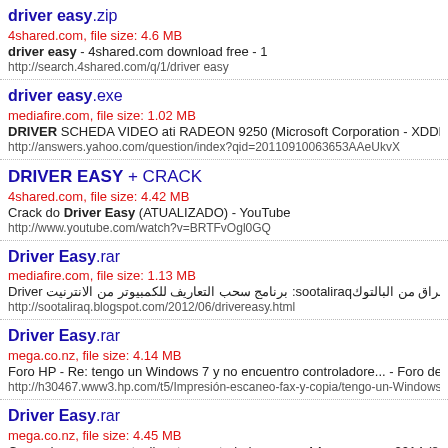driver easy.zip
4shared.com, file size: 4.6 MB
driver easy - 4shared.com download free - 1
http://search.4shared.com/q/1/driver easy
driver easy.exe
mediafire.com, file size: 1.02 MB
DRIVER SCHEDA VIDEO ati RADEON 9250 (Microsoft Corporation - XDDM)?
http://answers.yahoo.com/question/index?qid=20110910063653AAeUkvX
DRIVER EASY + CRACK
4shared.com, file size: 4.42 MB
Crack do Driver Easy (ATUALIZADO) - YouTube
http://www.youtube.com/watch?v=BRTFvOgl0GQ
Driver Easy.rar
mediafire.com, file size: 1.13 MB
Driver برنامج سحب التعاريف للكمبيوتر من الانترنيت :sootaliraqصوت العراق من البالتوك
http://sootaliraq.blogspot.com/2012/06/drivereasy.html
Driver Easy.rar
mega.co.nz, file size: 4.14 MB
Foro HP - Re: tengo un Windows 7 y no encuentro controladore... - Foro de los usu
http://h30467.www3.hp.com/t5/Impresión-escaneo-fax-y-copia/tengo-un-Windows-7
Driver Easy.rar
mega.co.nz, file size: 4.45 MB
Como descargar y actualizar tus controladores con driver scanner 2014 (8.46 MB)